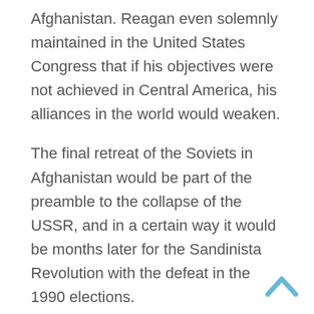Afghanistan. Reagan even solemnly maintained in the United States Congress that if his objectives were not achieved in Central America, his alliances in the world would weaken.
The final retreat of the Soviets in Afghanistan would be part of the preamble to the collapse of the USSR, and in a certain way it would be months later for the Sandinista Revolution with the defeat in the 1990 elections.
In 2021, it is the turn of the US military to suffer an unquestionable defeat in